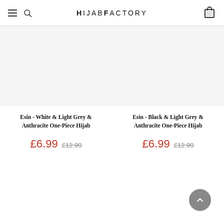HijabFactory
Esin - White & Light Grey & Anthracite One-Piece Hijab £6.99 £12.90
Esin - Black & Light Grey & Anthracite One-Piece Hijab £6.99 £12.90